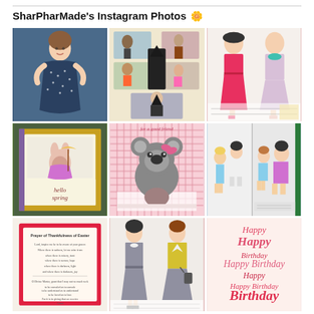SharPharMade's Instagram Photos 🌼
[Figure (photo): Woman in blue polka dot dress]
[Figure (photo): Collage of Halloween costume photos]
[Figure (photo): Vintage sewing pattern illustration of woman in pink coat and dress]
[Figure (photo): Hello spring greeting card with bunny]
[Figure (photo): Pink koala greeting card reading 'for a good friend']
[Figure (photo): Vintage children's sewing pattern with kids in casual wear]
[Figure (photo): Framed poem or prayer text]
[Figure (photo): Vintage sewing pattern with women in gray and yellow suits]
[Figure (photo): Happy Birthday handwritten card in pink cursive]